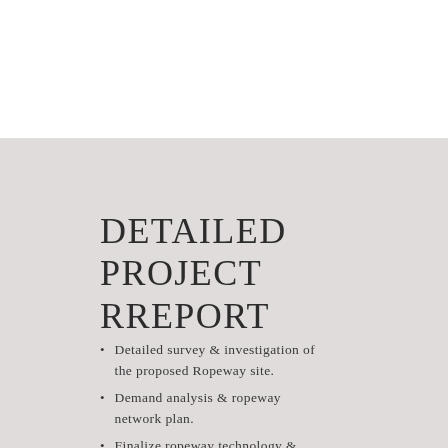DETAILED PROJECT RREPORT
Detailed survey & investigation of the proposed Ropeway site.
Demand analysis & ropeway network plan.
Finalize ropeway technology &